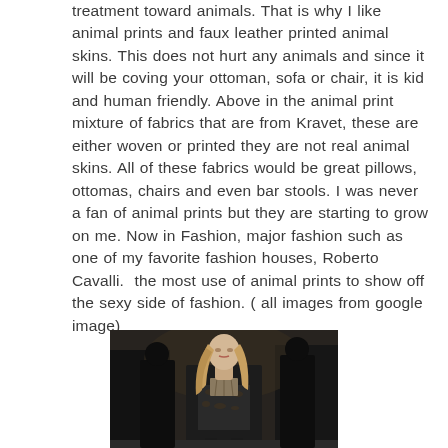treatment toward animals. That is why I like animal prints and faux leather printed animal skins. This does not hurt any animals and since it will be coving your ottoman, sofa or chair, it is kid and human friendly. Above in the animal print mixture of fabrics that are from Kravet, these are either woven or printed they are not real animal skins. All of these fabrics would be great pillows, ottomas, chairs and even bar stools. I was never a fan of animal prints but they are starting to grow on me. Now in Fashion, major fashion such as one of my favorite fashion houses, Roberto Cavalli. the most use of animal prints to show off the sexy side of fashion. ( all images from google image)
[Figure (photo): A fashion model walking on a runway wearing animal print clothing, with dark background and other figures visible behind her.]